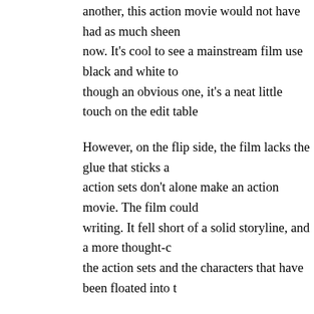another, this action movie would not have had as much sheen now. It's cool to see a mainstream film use black and white to though an obvious one, it's a neat little touch on the edit table
However, on the flip side, the film lacks the glue that sticks a action sets don't alone make an action movie. The film could writing. It fell short of a solid storyline, and a more thought-c the action sets and the characters that have been floated into t
Despite some great names in the credits all along, the eventua you feeling disappointed. Dhaakad, although, is about two ho run feels way longer. And yet, in a dichotomy of sorts, you fe understand how the plot connected itself from point A to B, m backstory that repeats thrice over. Arjun Rampal's character, with better writing which would have borne better results. Alt style and charisma to his evil avatar (what with the platinum b great effort to pull off his menacing act with conviction, his c